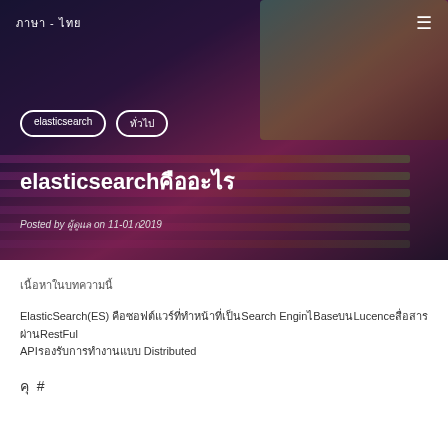ภาษา - ไทย
[Figure (photo): Colorful backlit laptop keyboard with pink, purple, green gradient lighting on dark background]
elasticsearch
ทั่วไป
elasticsearchคืออะไร
Posted by ผู้ดูแล on 11-01ก2019
เนื้อหาในบทความนี้
ElasticSearch(ES) คือซอฟต์แวร์ที่ทำหน้าที่เป็นSearch EnginไBaseบนLucenceสื่อสารผ่านRestFul APIรองรับการทำงานแบบ Distributed
คุ #